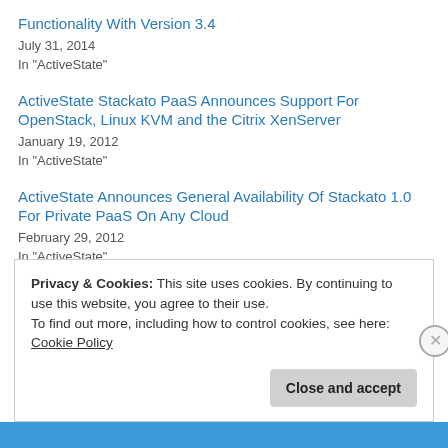Functionality With Version 3.4
July 31, 2014
In "ActiveState"
ActiveState Stackato PaaS Announces Support For OpenStack, Linux KVM and the Citrix XenServer
January 19, 2012
In "ActiveState"
ActiveState Announces General Availability Of Stackato 1.0 For Private PaaS On Any Cloud
February 29, 2012
In "ActiveState"
Privacy & Cookies: This site uses cookies. By continuing to use this website, you agree to their use. To find out more, including how to control cookies, see here: Cookie Policy
Close and accept